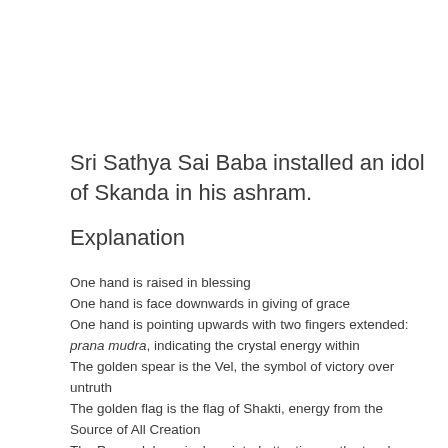Sri Sathya Sai Baba installed an idol of Skanda in his ashram.
Explanation
One hand is raised in blessing
One hand is face downwards in giving of grace
One hand is pointing upwards with two fingers extended: prana mudra, indicating the crystal energy within
The golden spear is the Vel, the symbol of victory over untruth
The golden flag is the flag of Shakti, energy from the Source of All Creation
The Peacock has single pointed attention on the teacher